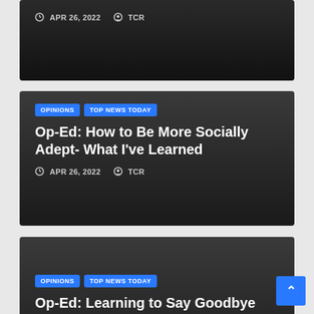Review, with PJ Howard — APR 26, 2022 — TCR
Op-Ed: How to Be More Socially Adept- What I've Learned
OPINIONS   TOP NEWS TODAY — APR 26, 2022 — TCR
Op-Ed: Learning to Say Goodbye
OPINIONS   TOP NEWS TODAY